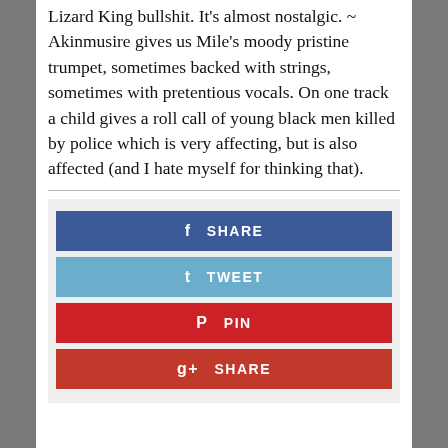Lizard King bullshit. It's almost nostalgic. ~ Akinmusire gives us Mile's moody pristine trumpet, sometimes backed with strings, sometimes with pretentious vocals. On one track a child gives a roll call of young black men killed by police which is very affecting, but is also affected (and I hate myself for thinking that).
[Figure (infographic): Social sharing buttons: Facebook Share, Tweet, Pinterest Pin, Google+ Share]